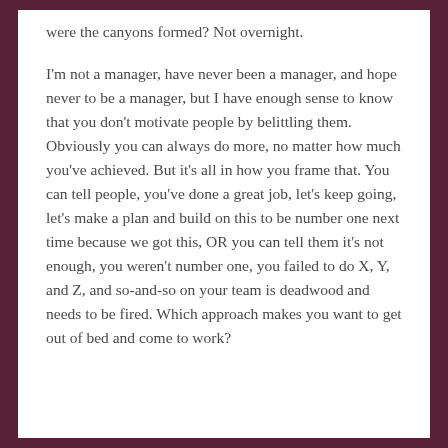were the canyons formed? Not overnight.
I'm not a manager, have never been a manager, and hope never to be a manager, but I have enough sense to know that you don't motivate people by belittling them. Obviously you can always do more, no matter how much you've achieved. But it's all in how you frame that. You can tell people, you've done a great job, let's keep going, let's make a plan and build on this to be number one next time because we got this, OR you can tell them it's not enough, you weren't number one, you failed to do X, Y, and Z, and so-and-so on your team is deadwood and needs to be fired. Which approach makes you want to get out of bed and come to work?